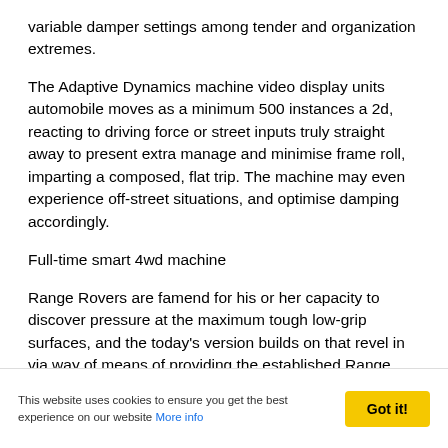variable damper settings among tender and organization extremes.
The Adaptive Dynamics machine video display units automobile moves as a minimum 500 instances a 2d, reacting to driving force or street inputs truly straight away to present extra manage and minimise frame roll, imparting a composed, flat trip. The machine may even experience off-street situations, and optimise damping accordingly.
Full-time smart 4wd machine
Range Rovers are famend for his or her capacity to discover pressure at the maximum tough low-grip surfaces, and the today's version builds on that revel in via way of means of providing the established Range Rover complete-time smart 4wd machine, with a -pace switch field imparting a low-variety choice for tough
This website uses cookies to ensure you get the best experience on our website More info